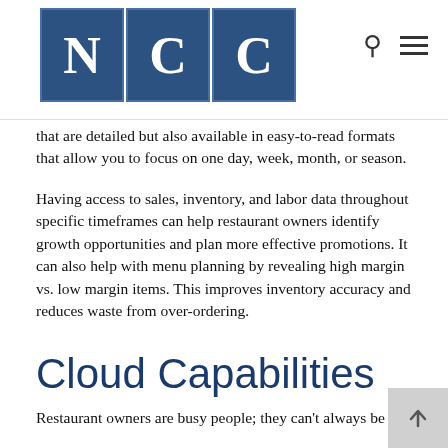NCC
that are detailed but also available in easy-to-read formats that allow you to focus on one day, week, month, or season.
Having access to sales, inventory, and labor data throughout specific timeframes can help restaurant owners identify growth opportunities and plan more effective promotions. It can also help with menu planning by revealing high margin vs. low margin items. This improves inventory accuracy and reduces waste from over-ordering.
Cloud Capabilities
Restaurant owners are busy people; they can't always be